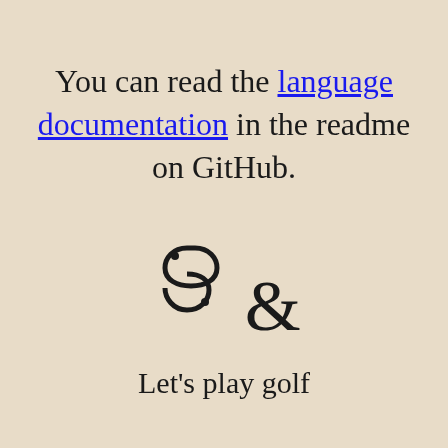You can read the language documentation in the readme on GitHub.
[Figure (illustration): A decorative ampersand-like typographic symbol (Tironian et / scissors-like glyph) centered on the page]
Let's play golf